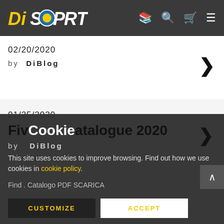DiSPORT
02/20/2020
by DiBlog
01/25/2020
Five Cookie atalogue 2020
by DiBlog
Find . Catalogo PDF SCARICA
Cookie
This site uses cookies to improve browsing. Find out how we use cookies in cookie policy.
CUSTOMIZE  ACCEPT